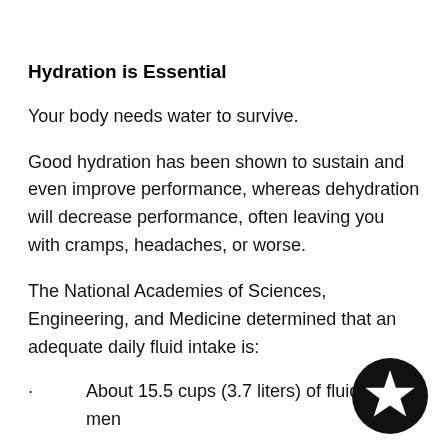Hydration is Essential
Your body needs water to survive.
Good hydration has been shown to sustain and even improve performance, whereas dehydration will decrease performance, often leaving you with cramps, headaches, or worse.
The National Academies of Sciences, Engineering, and Medicine determined that an adequate daily fluid intake is:
About 15.5 cups (3.7 liters) of fluids for men